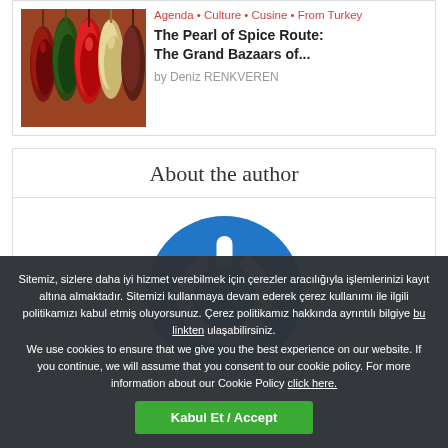[Figure (photo): Photo of colorful dried peppers and vegetables hanging in bunches]
Agenda • Culture • Cusine • From Turkey
The Pearl of Spice Route:
The Grand Bazaars of...
by Deniz RENKVEREN
About the author
[Figure (logo): Blue circular power button logo icon]
Sitemiz, sizlere daha iyi hizmet verebilmek için çerezler aracılığıyla işlemlerinizi kayıt altına almaktadır. Sitemizi kullanmaya devam ederek çerez kullanımı ile ilgili politikamızı kabul etmiş oluyorsunuz. Çerez politikamız hakkında ayrıntılı bilgiye bu linkten ulaşabilirsiniz. We use cookies to ensure that we give you the best experience on our website. If you continue, we will assume that you consent to our cookie policy. For more information about our Cookie Policy click here.
Kabul Et / Accept